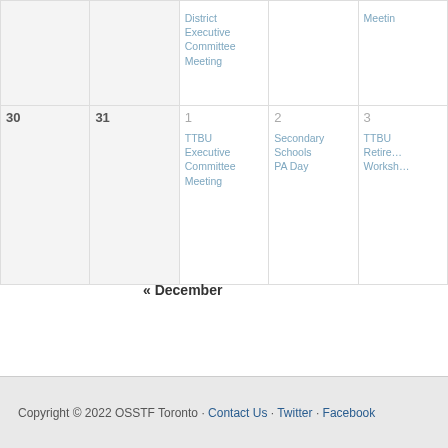| Sun | Mon | Tue | Wed | Thu |
| --- | --- | --- | --- | --- |
|  |  | District Executive Committee Meeting |  | Meetin… |
| 30 | 31 | 1
TTBU Executive Committee Meeting | 2
Secondary Schools PA Day | 3
TTBU Retire… Worksh… |
« December
Copyright © 2022 OSSTF Toronto · Contact Us · Twitter · Facebook